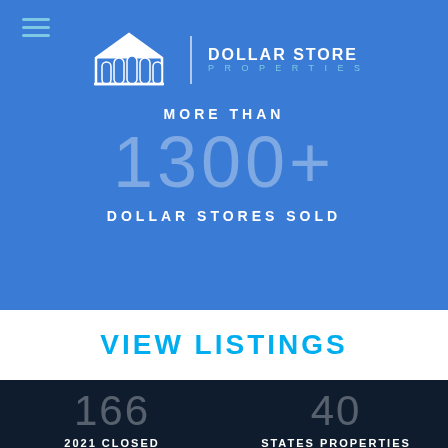[Figure (logo): Dollar Store Properties logo with building icon and brand name]
MORE THAN
1300+
DOLLAR STORES SOLD
VIEW LISTINGS
166
2021 CLOSED TRANSACTIONS
40
STATES PROPERTIES HAVE BEEN SOLD IN